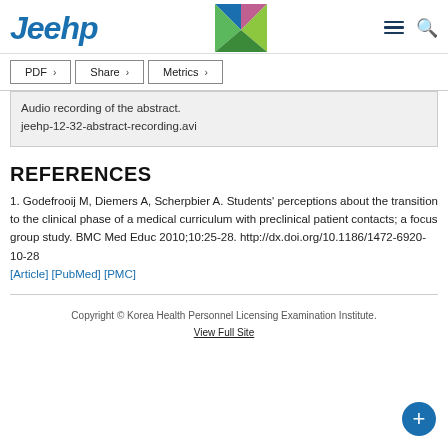Jeehp
Audio recording of the abstract.
jeehp-12-32-abstract-recording.avi
REFERENCES
1. Godefrooij M, Diemers A, Scherpbier A. Students' perceptions about the transition to the clinical phase of a medical curriculum with preclinical patient contacts; a focus group study. BMC Med Educ 2010;10:25-28. http://dx.doi.org/10.1186/1472-6920-10-28 [Article] [PubMed] [PMC]
Copyright © Korea Health Personnel Licensing Examination Institute. View Full Site